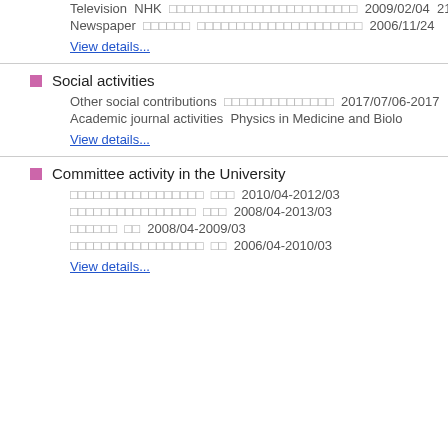Television  NHK  [Japanese text]  2009/02/04  21:00
Newspaper  [Japanese text]  [Japanese text]  2006/11/24
View details...
Social activities
Other social contributions  [Japanese text]  2017/07/06-2017
Academic journal activities  Physics in Medicine and Biolo
View details...
Committee activity in the University
[Japanese text]  [Japanese text]  2010/04-2012/03
[Japanese text]  [Japanese text]  2008/04-2013/03
[Japanese text]  [Japanese text]  2008/04-2009/03
[Japanese text]  [Japanese text]  2006/04-2010/03
View details...